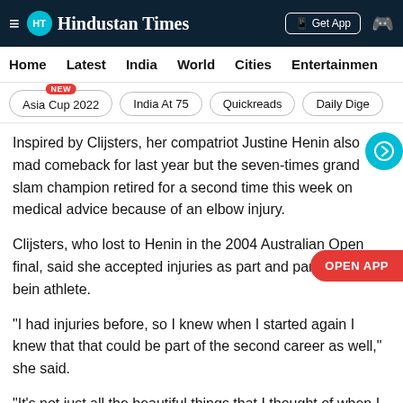Hindustan Times
Home | Latest | India | World | Cities | Entertainment
Asia Cup 2022 NEW | India At 75 | Quickreads | Daily Dige
Inspired by Clijsters, her compatriot Justine Henin also mad comeback for last year but the seven-times grand slam champion retired for a second time this week on medical advice because of an elbow injury.
Clijsters, who lost to Henin in the 2004 Australian Open final, said she accepted injuries as part and parcel of being an athlete.
"I had injuries before, so I knew when I started again I knew that that could be part of the second career as well," she said.
"It's not just all the beautiful things that I thought of when I started again."